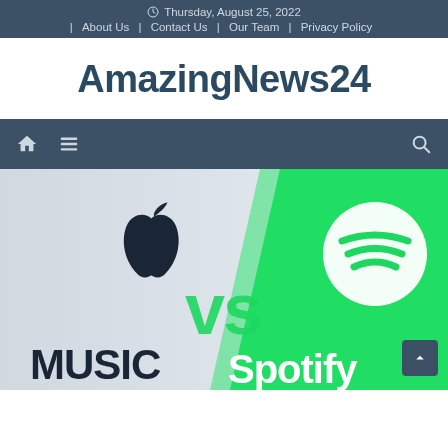Thursday, August 25, 2022 | About Us | Contact Us | Our Team | Privacy Policy
AmazingNews24
[Figure (other): Navigation bar with home icon, hamburger menu icon on the left, and search icon on the right, on a dark teal background.]
[Figure (illustration): Apple Music vs Spotify promotional image: left half shows white/grey background with Apple logo and text 'MUSIC', right half shows bright green background with Spotify logo and text 'Spotify', large 'VS' text in the center.]